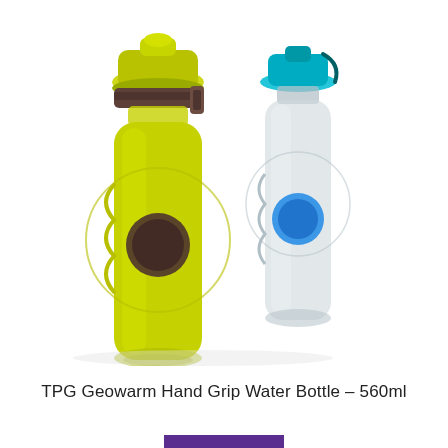[Figure (photo): Two water bottles side by side: a yellow-green bottle with brown cap and dark round grip on the left (foreground), and a gray/clear bottle with cyan/teal cap and blue round grip on the right (background). Both bottles have ergonomic hand grip design. TPG Geowarm brand.]
TPG Geowarm Hand Grip Water Bottle – 560ml